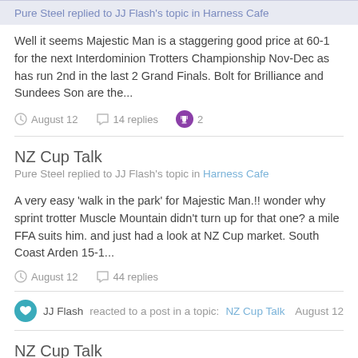Pure Steel replied to JJ Flash's topic in Harness Cafe
Well it seems Majestic Man is a staggering good price at 60-1 for the next Interdominion Trotters Championship Nov-Dec as has run 2nd in the last 2 Grand Finals. Bolt for Brilliance and Sundees Son are the...
August 12   14 replies   2
NZ Cup Talk
Pure Steel replied to JJ Flash's topic in Harness Cafe
A very easy 'walk in the park' for Majestic Man.!! wonder why sprint trotter Muscle Mountain didn't turn up for that one? a mile FFA suits him. and just had a look at NZ Cup market. South Coast Arden 15-1...
August 12   44 replies
JJ Flash reacted to a post in a topic: NZ Cup Talk   August 12
NZ Cup Talk